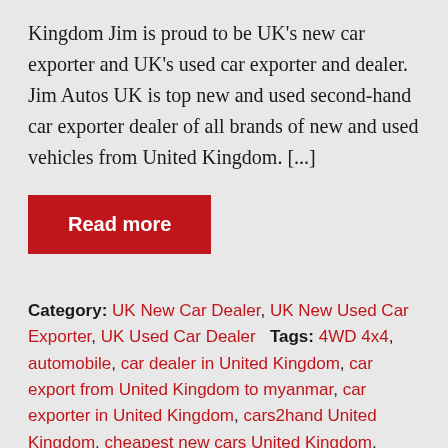Kingdom Jim is proud to be UK's new car exporter and UK's used car exporter and dealer. Jim Autos UK is top new and used second-hand car exporter dealer of all brands of new and used vehicles from United Kingdom. [...]
Read more
Category: UK New Car Dealer, UK New Used Car Exporter, UK Used Car Dealer   Tags: 4WD 4x4, automobile, car dealer in United Kingdom, car export from United Kingdom to myanmar, car exporter in United Kingdom, cars2hand United Kingdom, cheapest new cars United Kingdom, export, export car from United Kingdom to Kenya, export car from United Kingdom to Trinidad, export car from United Kingdom to United Kingdom, export car parts to United Kingdom, export car to United Kingdom, exporter from United